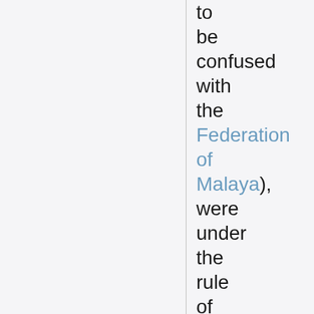to be confused with the Federation of Malaya), were under the rule of British residents